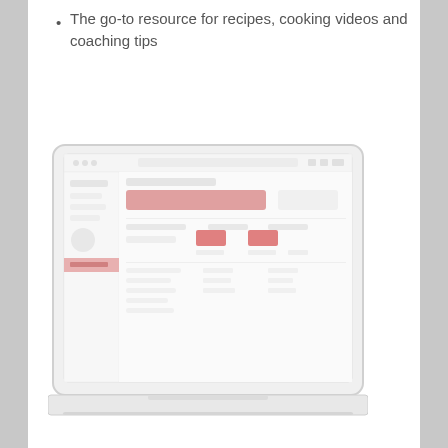The go-to resource for recipes, cooking videos and coaching tips
[Figure (screenshot): A laptop/computer screen mockup showing a web application interface with faded/light appearance, featuring navigation elements, a highlighted pink/red bar, icons, and data content areas.]